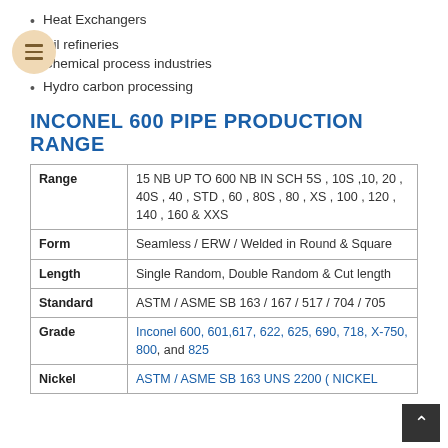Heat Exchangers
Oil refineries
Chemical process industries
Hydro carbon processing
INCONEL 600 PIPE PRODUCTION RANGE
|  |  |
| --- | --- |
| Range | 15 NB UP TO 600 NB IN SCH 5S , 10S ,10, 20 , 40S , 40 , STD , 60 , 80S , 80 , XS , 100 , 120 , 140 , 160 & XXS |
| Form | Seamless / ERW / Welded in Round & Square |
| Length | Single Random, Double Random & Cut length |
| Standard | ASTM / ASME SB 163 / 167 / 517 / 704 / 705 |
| Grade | Inconel 600, 601,617, 622, 625, 690, 718, X-750, 800, and 825 |
| Nickel | ASTM / ASME SB 163 UNS 2200 ( NICKEL |